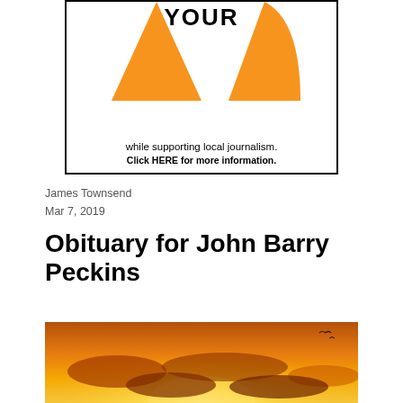[Figure (illustration): Partial advertisement banner showing orange pie-chart-like shapes with text 'YOUR' at top, 'while supporting local journalism.' and 'Click HERE for more information.' in bold text, with a black border]
James Townsend
Mar 7, 2019
Obituary for John Barry Peckins
[Figure (photo): Photograph of a dramatic sunset sky with orange and golden tones, clouds silhouetted against bright sun rays, and birds visible in upper right corner]